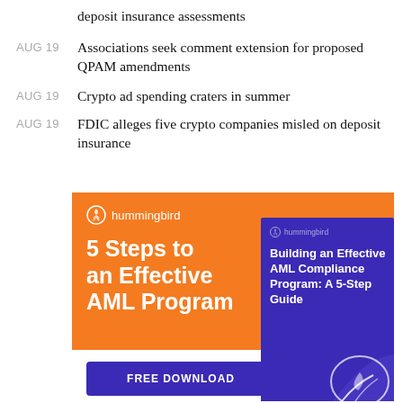deposit insurance assessments
AUG 19 — Associations seek comment extension for proposed QPAM amendments
AUG 19 — Crypto ad spending craters in summer
AUG 19 — FDIC alleges five crypto companies misled on deposit insurance
[Figure (illustration): Hummingbird advertisement: '5 Steps to an Effective AML Program' with orange background, purple book cover showing 'Building an Effective AML Compliance Program: A 5-Step Guide', and a FREE DOWNLOAD button]